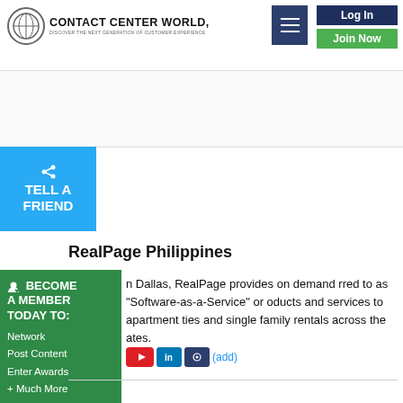[Figure (logo): Contact Center World logo with circular emblem and text 'Contact Center World - Discover The Next Generation Of Customer Experience']
[Figure (screenshot): Hamburger menu button (dark navy blue)]
[Figure (screenshot): Log In button (dark navy blue)]
[Figure (screenshot): Join Now button (green)]
[Figure (screenshot): Blue Tell A Friend button with share icon]
RealPage Philippines
n Dallas, RealPage provides on demand rred to as "Software-as-a-Service" or oducts and services to apartment ties and single family rentals across the ates.
[Figure (screenshot): Green Become A Member Today To: Network, Post Content, Enter Awards, + Much More panel]
[Figure (screenshot): Social media icons: YouTube, LinkedIn, CCW, and (add) link]